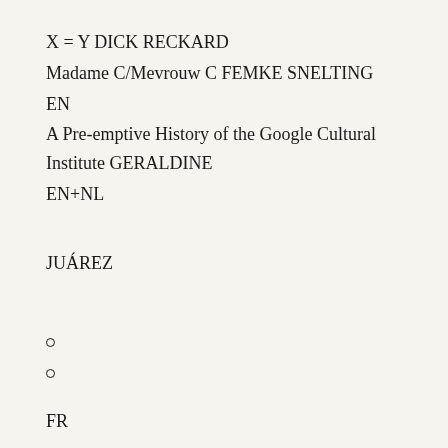X = Y DICK RECKARD
Madame C/Mevrouw C FEMKE SNELTING
EN
A Pre-emptive History of the Google Cultural Institute GERALDINE
EN+NL
JUÁREZ
°
°
FR